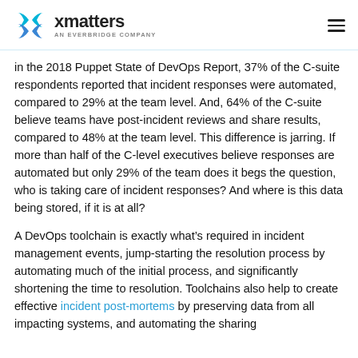xmatters AN EVERBRIDGE COMPANY
in the 2018 Puppet State of DevOps Report, 37% of the C-suite respondents reported that incident responses were automated, compared to 29% at the team level. And, 64% of the C-suite believe teams have post-incident reviews and share results, compared to 48% at the team level. This difference is jarring. If more than half of the C-level executives believe responses are automated but only 29% of the team does it begs the question, who is taking care of incident responses? And where is this data being stored, if it is at all?
A DevOps toolchain is exactly what’s required in incident management events, jump-starting the resolution process by automating much of the initial process, and significantly shortening the time to resolution. Toolchains also help to create effective incident post-mortems by preserving data from all impacting systems, and automating the sharing